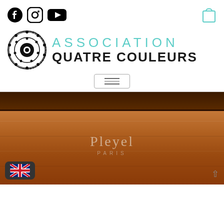Association Quatre Couleurs - website header with social icons and shopping cart
[Figure (logo): Association Quatre Couleurs logo with circular gear-like emblem and teal/black text]
[Figure (screenshot): Cropped photo of a Pleyel Paris piano in cherry wood finish, with a UK flag language selector button in bottom left]